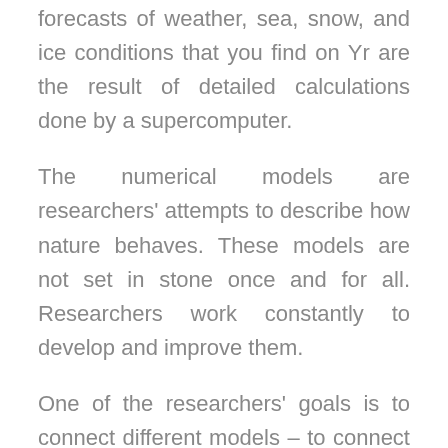Earth's atmosphere function. The daily forecasts of weather, sea, snow, and ice conditions that you find on Yr are the result of detailed calculations done by a supercomputer.
The numerical models are researchers' attempts to describe how nature behaves. These models are not set in stone once and for all. Researchers work constantly to develop and improve them.
One of the researchers' goals is to connect different models – to connect ocean and atmosphere, or ocean and ice. The long-term overarching goal is to create a unified model in which all conceivable elements